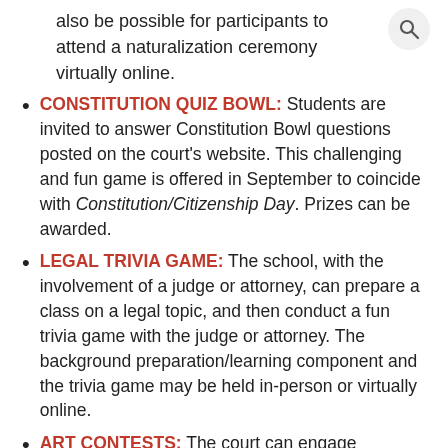also be possible for participants to attend a naturalization ceremony virtually online.
CONSTITUTION QUIZ BOWL: Students are invited to answer Constitution Bowl questions posted on the court's website. This challenging and fun game is offered in September to coincide with Constitution/Citizenship Day. Prizes can be awarded.
LEGAL TRIVIA GAME: The school, with the involvement of a judge or attorney, can prepare a class on a legal topic, and then conduct a fun trivia game with the judge or attorney. The background preparation/learning component and the trivia game may be held in-person or virtually online.
ART CONTESTS: The court can engage elementary and middle school students in art contests addressing a legal issue, Law Day or Constitution/Citizenship Day. The artwork or photographs will be displayed around the courthouse, or may be submitted and displayed